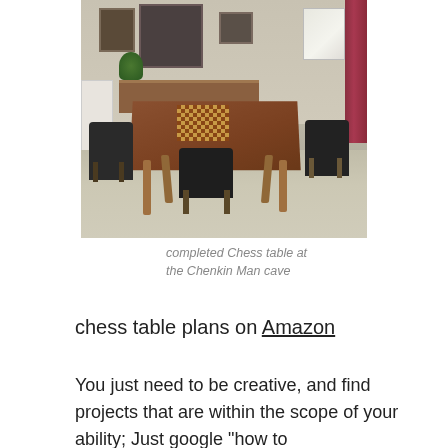[Figure (photo): A room with a wooden chess table surrounded by chairs with dark upholstery, framed pictures on the wall, red curtains, and a sideboard with decorations.]
completed Chess table at the Chenkin Man cave
chess table plans on Amazon
You just need to be creative, and find projects that are within the scope of your ability; Just google "how to